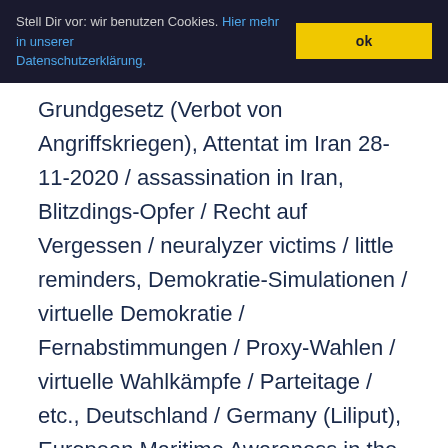Stell Dir vor: wir benutzen Cookies. Hier mehr in unserer Datenschutzerklärung. ok
Grundgesetz (Verbot von Angriffskriegen), Attentat im Iran 28-11-2020 / assassination in Iran, Blitzdings-Opfer / Recht auf Vergessen / neuralyzer victims / little reminders, Demokratie-Simulationen / virtuelle Demokratie / Fernabstimmungen / Proxy-Wahlen / virtuelle Wahlkämpfe / Parteitage / etc., Deutschland / Germany (Liliput), European Maritime Awareness in the Strait of Hormuz (EMASOH), FDP, Gulf of